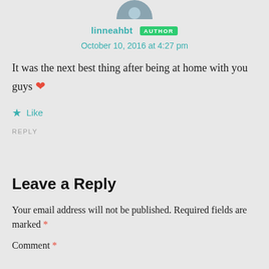[Figure (photo): Partial avatar/profile photo at top center]
linneahbt AUTHOR
October 10, 2016 at 4:27 pm
It was the next best thing after being at home with you guys ❤
★ Like
REPLY
Leave a Reply
Your email address will not be published. Required fields are marked *
Comment *